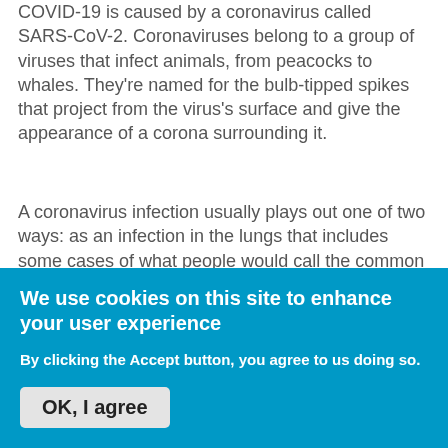COVID-19 is caused by a coronavirus called SARS-CoV-2. Coronaviruses belong to a group of viruses that infect animals, from peacocks to whales. They’re named for the bulb-tipped spikes that project from the virus’s surface and give the appearance of a corona surrounding it.
A coronavirus infection usually plays out one of two ways: as an infection in the lungs that includes some cases of what people would call the common cold, or as an infection in the gut that causes diarrhea. COVID-19 starts out in the lungs like the common cold coronaviruses, but then causes havoc with the immune system that can lead to long-term lung damage or death.
[Figure (other): Share/Save button with Facebook, Twitter, and share icons, followed by a Read more link with arrow]
We use cookies on this site to enhance your user experience
By clicking the Accept button, you agree to us doing so.
OK, I agree